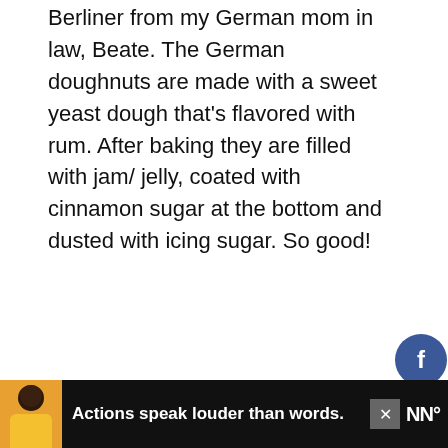Berliner from my German mom in law, Beate. The German doughnuts are made with a sweet yeast dough that's flavored with rum.  After baking they are filled with jam/ jelly, coated with cinnamon sugar at the bottom and dusted with icing sugar. So good!
[Figure (photo): A plate of Berliner (German doughnuts) dusted with powdered sugar. One doughnut is cut open showing jam/jelly filling inside.]
[Figure (infographic): Social media share buttons on the right side: Facebook (blue), Twitter (cyan), Pinterest (red), Yummly (orange), heart/like button with 1.4K count, and share button.]
Actions speak louder than words.